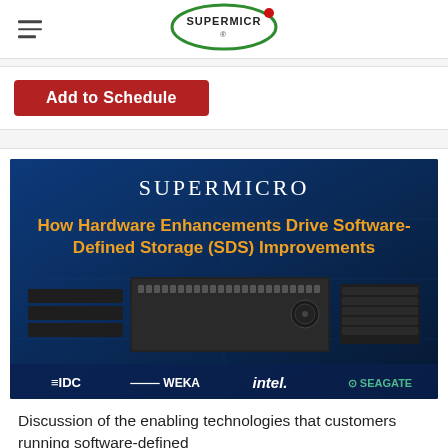Supermicro
[Figure (logo): Supermicro logo - oval green border with red dot]
[Figure (screenshot): Red button labeled 'Add to Schedule']
[Figure (illustration): Supermicro promotional banner: 'How Hardware Enhancements Drive Software-Defined Storage (SDS) Improvements' with IDC, WEKA, intel, SEAGATE logos and server hardware image]
Discussion of the enabling technologies that customers running software-defined